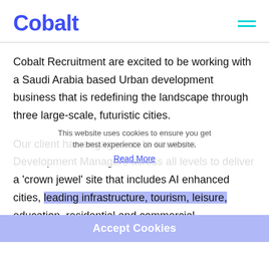Cobalt
Cobalt Recruitment are excited to be working with a Saudi Arabia based Urban development business that is redefining the landscape through three large-scale, futuristic cities.
Our client has engaged us to source a Development Managers across all levels to deliver a 'crown jewel' site that includes AI enhanced cities, leading infrastructure, tourism, leisure, education, residential and commercial
This website uses cookies to ensure you get the best experience on our website.
Read More
Accept Cookies